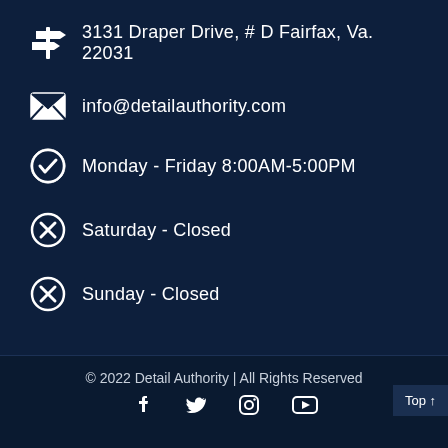3131 Draper Drive, # D Fairfax, Va. 22031
info@detailauthority.com
Monday - Friday 8:00AM-5:00PM
Saturday - Closed
Sunday - Closed
© 2022 Detail Authority | All Rights Reserved
Top ↑